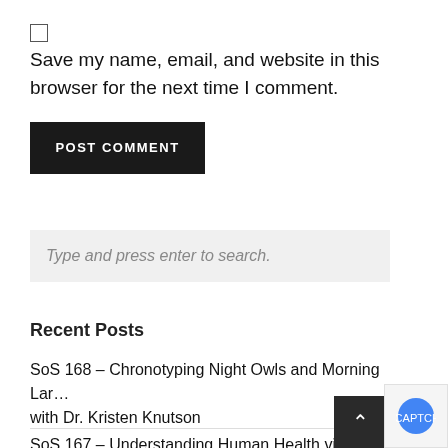Save my name, email, and website in this browser for the next time I comment.
POST COMMENT
Type and press enter to search.
Recent Posts
SoS 168 – Chronotyping Night Owls and Morning Larks with Dr. Kristen Knutson
SoS 167 – Understanding Human Health via the Skeleton in…